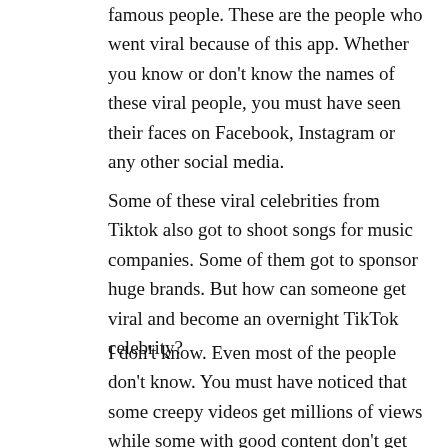famous people. These are the people who went viral because of this app. Whether you know or don't know the names of these viral people, you must have seen their faces on Facebook, Instagram or any other social media.
Some of these viral celebrities from Tiktok also got to shoot songs for music companies. Some of them got to sponsor huge brands. But how can someone get viral and become an overnight TikTok celebrity?
I don't know. Even most of the people don't know. You must have noticed that some creepy videos get millions of views while some with good content don't get even a hundred views.